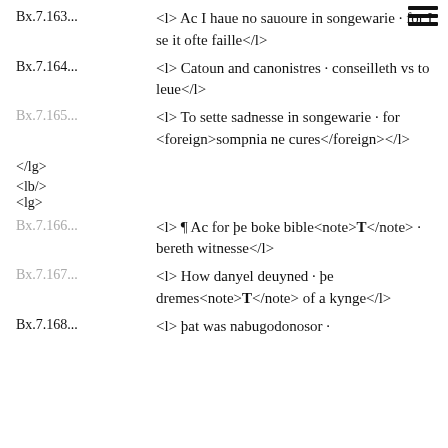Bx.7.163... <l> Ac I haue no sauoure in songewarie · for I se it ofte faille</l>
Bx.7.164... <l> Catoun and canonistres · conseilleth vs to leue</l>
Bx.7.165... <l> To sette sadnesse in songewarie · for <foreign>sompnia ne cures</foreign></l>
</lg>
<lb/>
<lg>
Bx.7.166... <l> ¶ Ac for þe boke bible<note>T</note> · bereth witnesse</l>
Bx.7.167... <l> How danyel deuyned · þe dremes<note>T</note> of a kynge</l>
Bx.7.168... <l> þat was nabugodonosor ·